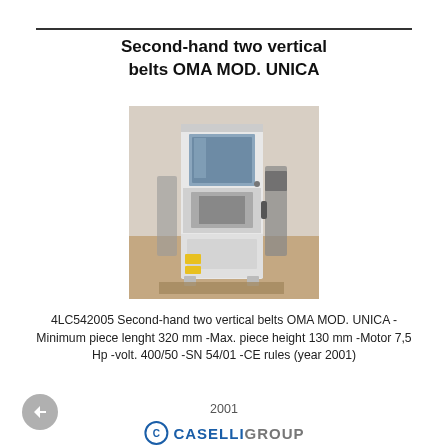Second-hand two vertical belts OMA MOD. UNICA
[Figure (photo): Photograph of a second-hand OMA MOD. UNICA two vertical belts machine, a white industrial banding/strapping machine in a warehouse setting]
4LC542005 Second-hand two vertical belts OMA MOD. UNICA -Minimum piece lenght 320 mm -Max. piece height 130 mm -Motor 7,5 Hp -volt. 400/50 -SN 54/01 -CE rules (year 2001)
2001
[Figure (logo): Caselli Group logo with circle icon and bold blue CASELLI text followed by grey GROUP text]